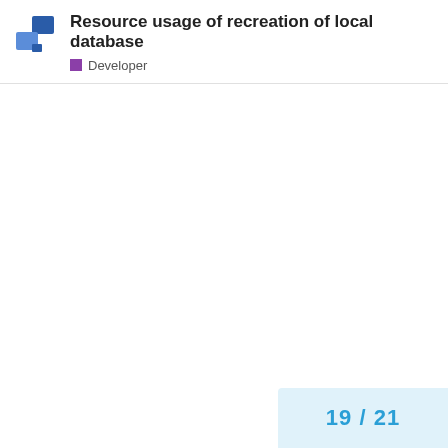Resource usage of recreation of local database
Developer
19 / 21